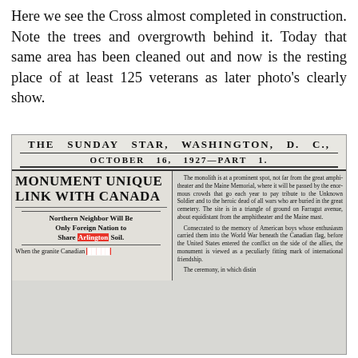Here we see the Cross almost completed in construction. Note the trees and overgrowth behind it. Today that same area has been cleaned out and now is the resting place of at least 125 veterans as later photo's clearly show.
[Figure (photo): Scanned newspaper clipping from The Sunday Star, Washington D.C., October 16, 1927 - Part 1. Headline reads 'MONUMENT UNIQUE LINK WITH CANADA' with subheadline 'Northern Neighbor Will Be Only Foreign Nation to Share Arlington Soil.' Article text discusses a monolith at a prominent spot near the great amphitheater and Maine Memorial, consecrated to the memory of American boys whose enthusiasm carried them into the World War beneath the Canadian flag.]